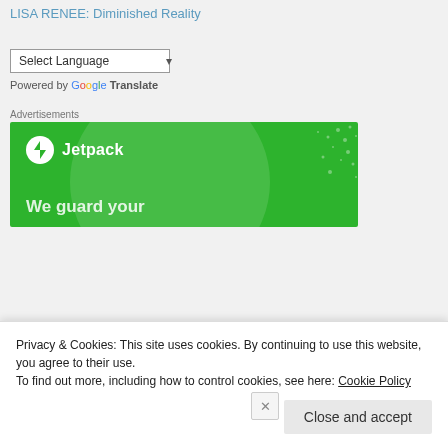LISA RENEE: Diminished Reality
Select Language (dropdown) — Powered by Google Translate
Advertisements
[Figure (screenshot): Jetpack advertisement banner on green background with circle graphic and tagline 'We guard your']
Privacy & Cookies: This site uses cookies. By continuing to use this website, you agree to their use.
To find out more, including how to control cookies, see here: Cookie Policy
Close and accept